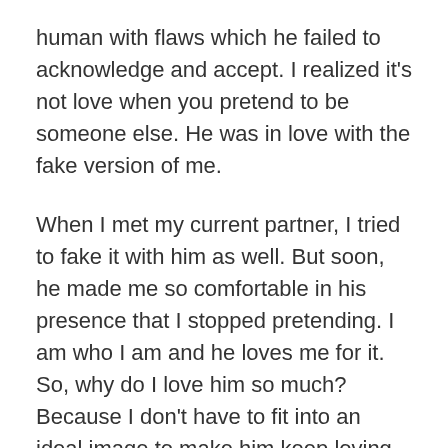human with flaws which he failed to acknowledge and accept. I realized it's not love when you pretend to be someone else. He was in love with the fake version of me.
When I met my current partner, I tried to fake it with him as well. But soon, he made me so comfortable in his presence that I stopped pretending. I am who I am and he loves me for it. So, why do I love him so much? Because I don't have to fit into an ideal image to make him keep loving me. He loves me with my flaws and imperfections.